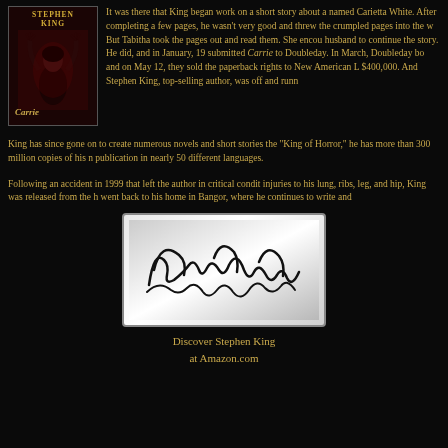[Figure (illustration): Cover of Stephen King's Carrie book — red/dark tones, woman with hands raised, title 'STEPHEN KING' at top and 'Carrie' at bottom]
It was there that King began work on a short story about a named Carietta White. After completing a few pages, he wasn't very good and threw the crumpled pages into the w But Tabitha took the pages out and read them. She encou husband to continue the story. He did, and in January, 19 submitted Carrie to Doubleday. In March, Doubleday bo and on May 12, they sold the paperback rights to New American L $400,000. And Stephen King, top-selling author, was off and runn
King has since gone on to create numerous novels and short stories the "King of Horror," he has more than 300 million copies of his n publication in nearly 50 different languages.
Following an accident in 1999 that left the author in critical condit injuries to his lung, ribs, leg, and hip, King was released from the h went back to his home in Bangor, where he continues to write and
[Figure (illustration): Stephen King's signature in black ink on a white/grey gradient background box]
Discover Stephen King at Amazon.com